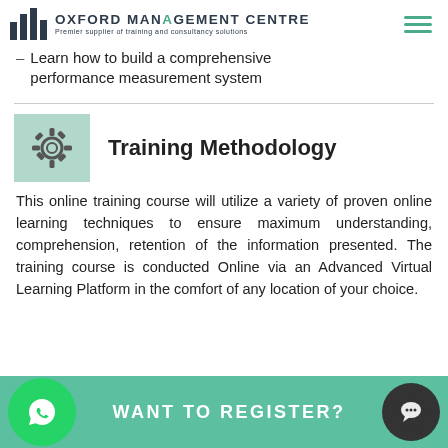OXFORD MANAGEMENT CENTRE – Premier supplier of training and consultancy solutions
Learn how to build a comprehensive performance measurement system
Training Methodology
This online training course will utilize a variety of proven online learning techniques to ensure maximum understanding, comprehension, retention of the information presented. The training course is conducted Online via an Advanced Virtual Learning Platform in the comfort of any location of your choice.
WANT TO REGISTER?